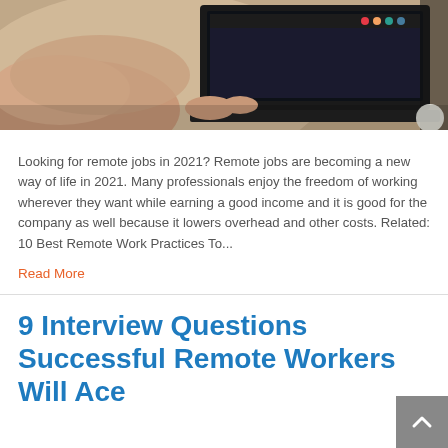[Figure (photo): Partial view of a person's hands typing on a laptop computer, seen from above at an angle. The dark laptop screen shows a taskbar with colorful icons. The image is cropped showing the upper portion of the scene.]
Looking for remote jobs in 2021? Remote jobs are becoming a new way of life in 2021. Many professionals enjoy the freedom of working wherever they want while earning a good income and it is good for the company as well because it lowers overhead and other costs. Related: 10 Best Remote Work Practices To...
Read More
9 Interview Questions Successful Remote Workers Will Ace